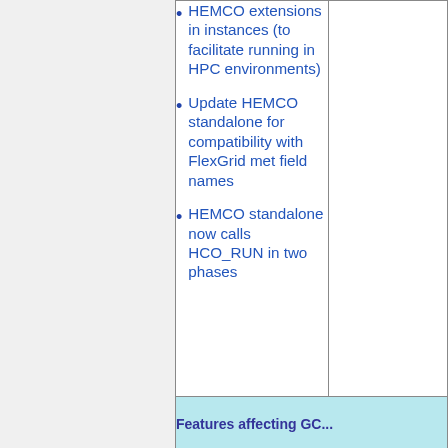HEMCO extensions in instances (to facilitate running in HPC environments)
Update HEMCO standalone for compatibility with FlexGrid met field names
HEMCO standalone now calls HCO_RUN in two phases
Features affecting GC...